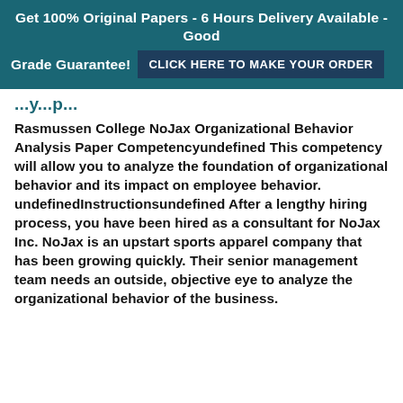Get 100% Original Papers - 6 Hours Delivery Available - Good Grade Guarantee! CLICK HERE TO MAKE YOUR ORDER
...y...p...
Rasmussen College NoJax Organizational Behavior Analysis Paper Competencyundefined This competency will allow you to analyze the foundation of organizational behavior and its impact on employee behavior. undefinedInstructionsundefined After a lengthy hiring process, you have been hired as a consultant for NoJax Inc. NoJax is an upstart sports apparel company that has been growing quickly. Their senior management team needs an outside, objective eye to analyze the organizational behavior of the business.